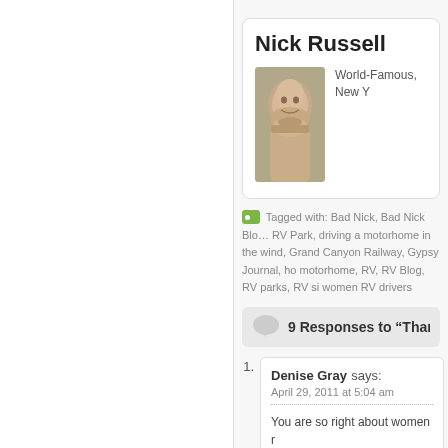Nick Russell
World-Famous, New Y
[Figure (photo): Profile photo of Nick Russell, a heavyset man with a beard, wearing a light-colored shirt]
Tagged with: Bad Nick, Bad Nick Blog, RV Park, driving a motorhome in the wind, Grand Canyon Railway, Gypsy Journal, ho motorhome, RV, RV Blog, RV parks, RV si women RV drivers
9 Responses to “Thanks
Denise Gray says:
April 29, 2011 at 5:04 am

You are so right about women r Twice, my husband has not be me. I took a driving class to be driver, I drive whenever we driv